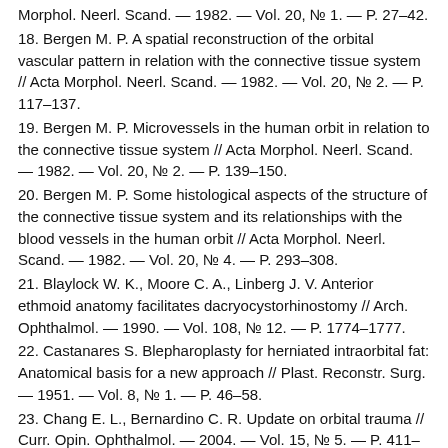Morphol. Neerl. Scand. — 1982. — Vol. 20, № 1. — P. 27–42.
18. Bergen M. P. A spatial reconstruction of the orbital vascular pattern in relation with the connective tissue system // Acta Morphol. Neerl. Scand. — 1982. — Vol. 20, № 2. — P. 117–137.
19. Bergen M. P. Microvessels in the human orbit in relation to the connective tissue system // Acta Morphol. Neerl. Scand. — 1982. — Vol. 20, № 2. — P. 139–150.
20. Bergen M. P. Some histological aspects of the structure of the connective tissue system and its relationships with the blood vessels in the human orbit // Acta Morphol. Neerl. Scand. — 1982. — Vol. 20, № 4. — P. 293–308.
21. Blaylock W. K., Moore C. A., Linberg J. V. Anterior ethmoid anatomy facilitates dacryocystorhinostomy // Arch. Ophthalmol. — 1990. — Vol. 108, № 12. — P. 1774–1777.
22. Castanares S. Blepharoplasty for herniated intraorbital fat: Anatomical basis for a new approach // Plast. Reconstr. Surg. — 1951. — Vol. 8, № 1. — P. 46–58.
23. Chang E. L., Bernardino C. R. Update on orbital trauma // Curr. Opin. Ophthalmol. — 2004. — Vol. 15, № 5. — P. 411–415.
24. Collin J. R., Beard C., Wood I. Experimental and clinical data on the insertion of the levator palpebrae superioris